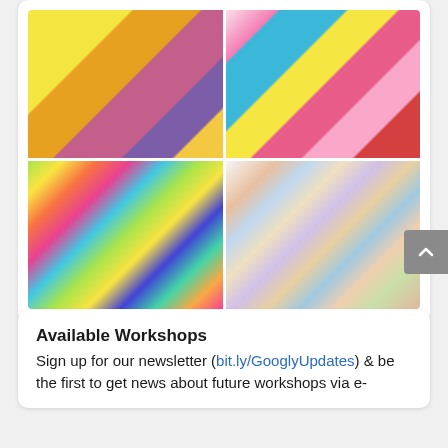[Figure (photo): A 2x2 grid of four craft/art photos: top-left shows colorful foam cutout shapes (rabbit, duck) in yellow and purple; top-right shows colorful paper rosettes with monster/alien characters; bottom-left shows rainbow-colored crayons/markers alongside pencil sketches of cartoon faces; bottom-right shows a watercolor palette set with painted character illustrations.]
Available Workshops
Sign up for our newsletter (bit.ly/GooglyUpdates) & be the first to get news about future workshops via e-